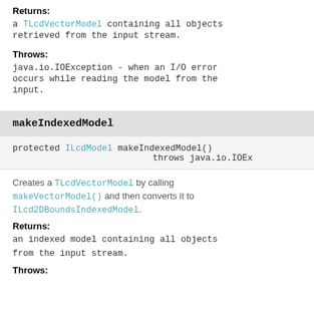Returns:
a TLcdVectorModel containing all objects retrieved from the input stream.
Throws:
java.io.IOException - when an I/O error occurs while reading the model from the input.
makeIndexedModel
protected ILcdModel makeIndexedModel() throws java.io.IOEx
Creates a TLcdVectorModel by calling makeVectorModel() and then converts it to ILcd2DBoundsIndexedModel.
Returns:
an indexed model containing all objects from the input stream.
Throws: